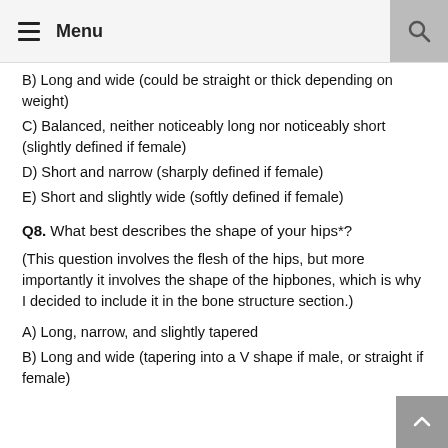Menu
B) Long and wide (could be straight or thick depending on weight)
C) Balanced, neither noticeably long nor noticeably short (slightly defined if female)
D) Short and narrow (sharply defined if female)
E) Short and slightly wide (softly defined if female)
Q8. What best describes the shape of your hips*?
(This question involves the flesh of the hips, but more importantly it involves the shape of the hipbones, which is why I decided to include it in the bone structure section.)
A) Long, narrow, and slightly tapered
B) Long and wide (tapering into a V shape if male, or straight if female)